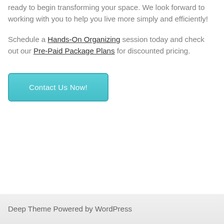ready to begin transforming your space. We look forward to working with you to help you live more simply and efficiently!
Schedule a Hands-On Organizing session today and check out our Pre-Paid Package Plans for discounted pricing.
Contact Us Now!
Deep Theme Powered by WordPress